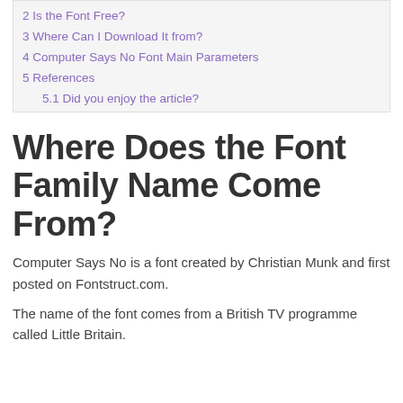2 Is the Font Free?
3 Where Can I Download It from?
4 Computer Says No Font Main Parameters
5 References
5.1 Did you enjoy the article?
Where Does the Font Family Name Come From?
Computer Says No is a font created by Christian Munk and first posted on Fontstruct.com.
The name of the font comes from a British TV programme called Little Britain.